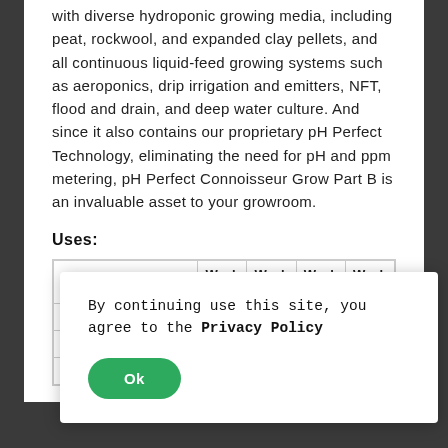with diverse hydroponic growing media, including peat, rockwool, and expanded clay pellets, and all continuous liquid-feed growing systems such as aeroponics, drip irrigation and emitters, NFT, flood and drain, and deep water culture. And since it also contains our proprietary pH Perfect Technology, eliminating the need for pH and ppm metering, pH Perfect Connoisseur Grow Part B is an invaluable asset to your growroom.
Uses:
|  | Week 1 | Week 2 | Week 3 | Week 4 |
| --- | --- | --- | --- | --- |
| p |  |  |  |  |
| c |  |  |  |  |
| c |  |  |  |  |
By continuing use this site, you agree to the Privacy Policy
Ok